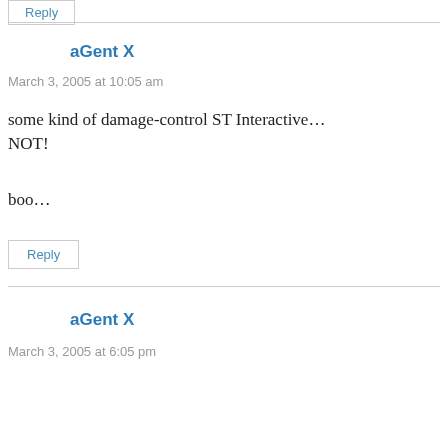[Figure (other): Partial reply button at top of page (cropped)]
aGent X
March 3, 2005 at 10:05 am
some kind of damage-control ST Interactive… NOT!
boo…
Reply
aGent X
March 3, 2005 at 6:05 pm